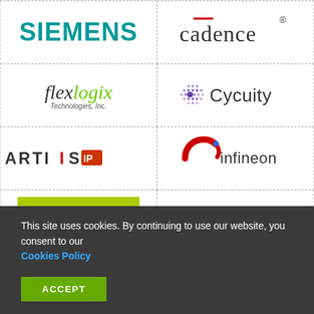[Figure (logo): Siemens logo - teal/cyan bold text]
[Figure (logo): Cadence logo - gray text with red bar accent and registered trademark]
[Figure (logo): Flexlogix Technologies Inc logo - italic text with green logix]
[Figure (logo): Cycuity logo - dotted hexagon icon with text]
[Figure (logo): Arteris IP logo - uppercase bold with red IP badge]
[Figure (logo): Infineon logo - with swoosh graphic]
[Figure (logo): Riscure logo - white text on lime/green background with tagline driving your security forward]
[Figure (logo): Empty cell placeholder]
NEWSLETTER SIGNUP
This site uses cookies. By continuing to use our website, you consent to our Cookies Policy
ACCEPT